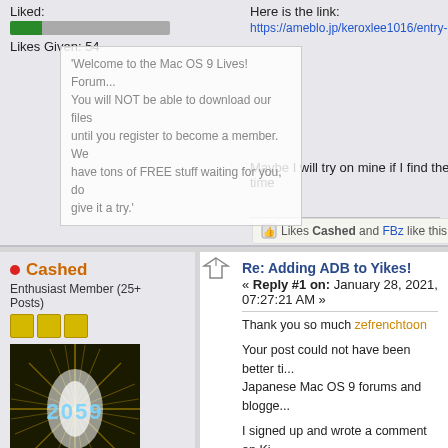Liked:
[Figure (other): Progress bar showing green filled portion on left, gray on right]
Likes Given: 54
'Welcome to the Mac OS 9 Lives! Forum... You will NOT be able to download our files until you register to become a member. We have tons of FREE stuff waiting for you, do give it a try.'
Here is the link:
https://ameblo.jp/keroxlee1016/entry-12
Maybe I will try on mine if I find the time
Likes Cashed and FBz like this
Cashed
Enthusiast Member (25+ Posts)
[Figure (photo): Avatar image with '2059' text on dark starburst background]
Posts: 80
Re: Adding ADB to Yikes!
« Reply #1 on: January 28, 2021, 07:27:21 AM »
Thank you so much zefrenchtoon
Your post could not have been better timed. Japanese Mac OS 9 forums and blogge...
I signed up and wrote a comment on Ki... him here.
Please never hesitate posting your find... another man's treasure.